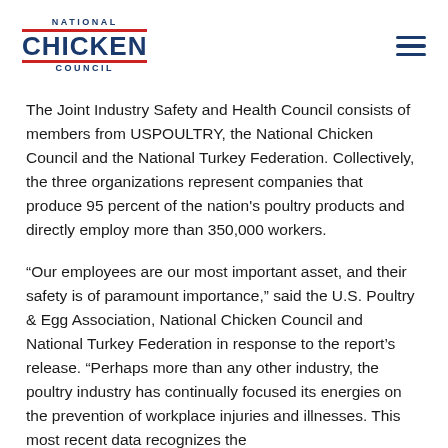NATIONAL CHICKEN COUNCIL
The Joint Industry Safety and Health Council consists of members from USPOULTRY, the National Chicken Council and the National Turkey Federation. Collectively, the three organizations represent companies that produce 95 percent of the nation's poultry products and directly employ more than 350,000 workers.
“Our employees are our most important asset, and their safety is of paramount importance,” said the U.S. Poultry & Egg Association, National Chicken Council and National Turkey Federation in response to the report’s release. “Perhaps more than any other industry, the poultry industry has continually focused its energies on the prevention of workplace injuries and illnesses. This most recent data recognizes the